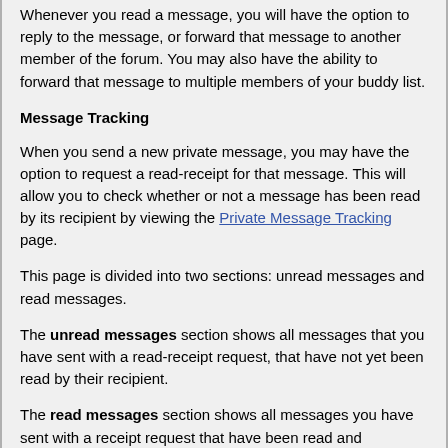Whenever you read a message, you will have the option to reply to the message, or forward that message to another member of the forum. You may also have the ability to forward that message to multiple members of your buddy list.
Message Tracking
When you send a new private message, you may have the option to request a read-receipt for that message. This will allow you to check whether or not a message has been read by its recipient by viewing the Private Message Tracking page.
This page is divided into two sections: unread messages and read messages.
The unread messages section shows all messages that you have sent with a read-receipt request, that have not yet been read by their recipient.
The read messages section shows all messages you have sent with a receipt request that have been read and acknowledged by their recipient. The time that the message was read is also shown.
You may choose to end the tracking on any message you choose by selecting the message and clicking the [end tracking] button.